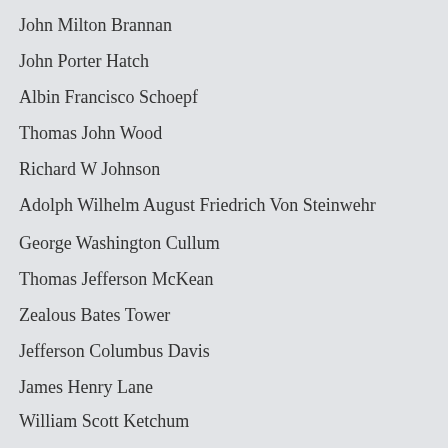John Milton Brannan
John Porter Hatch
Albin Francisco Schoepf
Thomas John Wood
Richard W Johnson
Adolph Wilhelm August Friedrich Von Steinwehr
George Washington Cullum
Thomas Jefferson McKean
Zealous Bates Tower
Jefferson Columbus Davis
James Henry Lane
William Scott Ketchum
John Wynn Davidson
James Gallant Spears